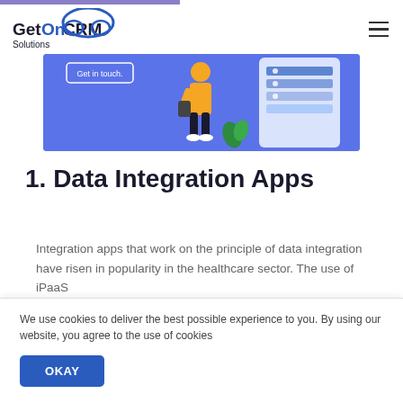GetOnCRM Solutions
[Figure (illustration): Hero banner with blue/purple background showing a person in yellow shirt holding a phone, standing next to a large tablet/device with charts. A 'Get in touch' button is visible. Decorative green leaf element.]
1. Data Integration Apps
Integration apps that work on the principle of data integration have risen in popularity in the healthcare sector. The use of iPaaS
We use cookies to deliver the best possible experience to you. By using our website, you agree to the use of cookies
OKAY